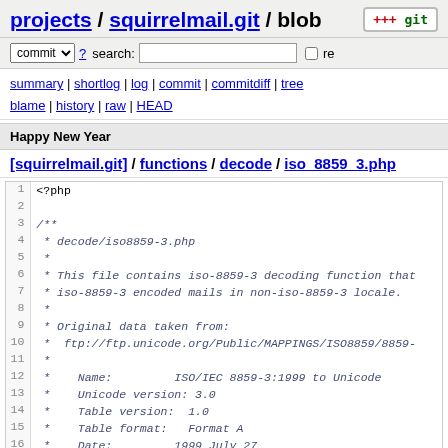projects / squirrelmail.git / blob
commit ? search: re
summary | shortlog | log | commit | commitdiff | tree blame | history | raw | HEAD
Happy New Year
[squirrelmail.git] / functions / decode / iso_8859_3.php
[Figure (screenshot): Code view showing PHP file iso_8859_3.php lines 1-19 with line numbers on the left and code content in monospace italic font]